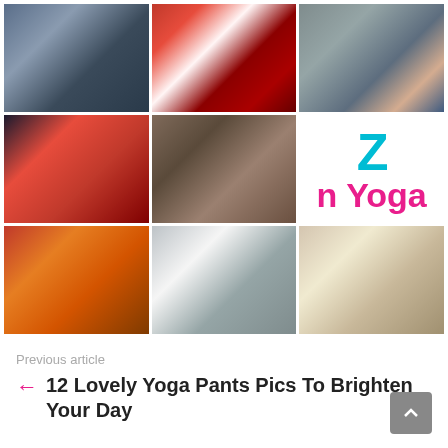[Figure (photo): 3x3 grid of photos related to yoga pants/leggings]
Previous article
12 Lovely Yoga Pants Pics To Brighten Your Day